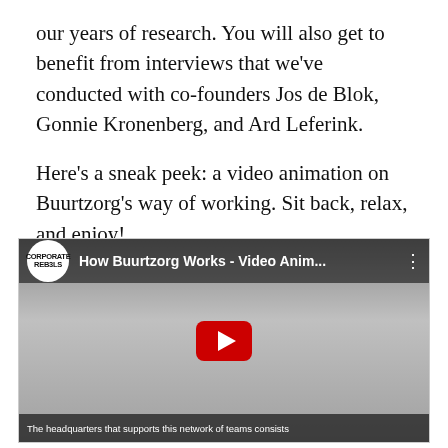our years of research. You will also get to benefit from interviews that we've conducted with co-founders Jos de Blok, Gonnie Kronenberg, and Ard Leferink.

Here's a sneak peek: a video animation on Buurtzorg's way of working. Sit back, relax, and enjoy!
[Figure (screenshot): Embedded YouTube video thumbnail showing 'How Buurtzorg Works - Video Anim...' with Corporate Rebels logo, red silhouette figures on gray background, red YouTube play button, and subtitle 'The headquarters that supports this network of teams consists']